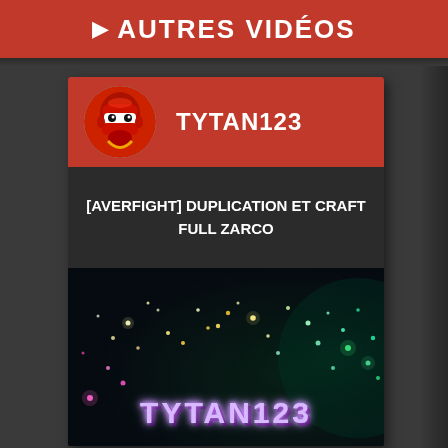▶ AUTRES VIDÉOS
TYTAN123
[AVERFIGHT] DUPLICATION ET CRAFT FULL ZARCO
[Figure (screenshot): Video thumbnail with dark background, colorful bokeh light spots, and 'TYTAN123' neon glowing text in purple/pink colors]